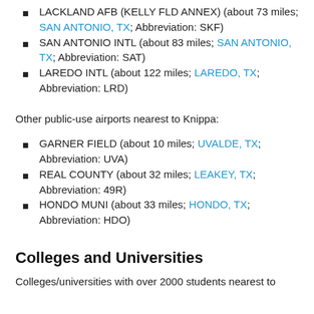LACKLAND AFB (KELLY FLD ANNEX) (about 73 miles; SAN ANTONIO, TX; Abbreviation: SKF)
SAN ANTONIO INTL (about 83 miles; SAN ANTONIO, TX; Abbreviation: SAT)
LAREDO INTL (about 122 miles; LAREDO, TX; Abbreviation: LRD)
Other public-use airports nearest to Knippa:
GARNER FIELD (about 10 miles; UVALDE, TX; Abbreviation: UVA)
REAL COUNTY (about 32 miles; LEAKEY, TX; Abbreviation: 49R)
HONDO MUNI (about 33 miles; HONDO, TX; Abbreviation: HDO)
Colleges and Universities
Colleges/universities with over 2000 students nearest to